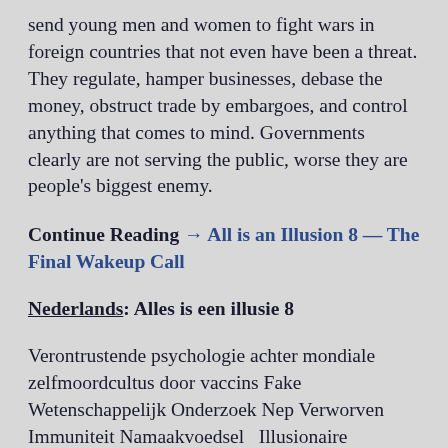send young men and women to fight wars in foreign countries that not even have been a threat. They regulate, hamper businesses, debase the money, obstruct trade by embargoes, and control anything that comes to mind. Governments clearly are not serving the public, worse they are people's biggest enemy.
Continue Reading → All is an Illusion 8 — The Final Wakeup Call
Nederlands: Alles is een illusie 8
Verontrustende psychologie achter mondiale zelfmoordcultus door vaccins Fake Wetenschappelijk Onderzoek Nep Verworven Immuniteit Namaakvoedsel   Illusionaire democratie De overheid is het probleem, niet de oplossing. Na dertien jaar van steeds dieper